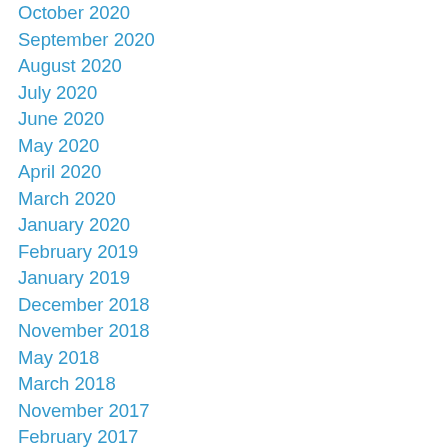October 2020
September 2020
August 2020
July 2020
June 2020
May 2020
April 2020
March 2020
January 2020
February 2019
January 2019
December 2018
November 2018
May 2018
March 2018
November 2017
February 2017
January 2017
December 2016
November 2016